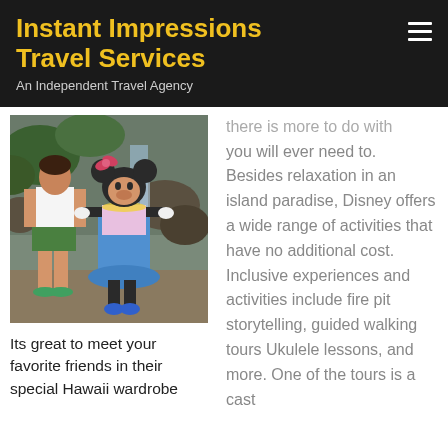Instant Impressions Travel Services
An Independent Travel Agency
[Figure (photo): Woman posing with Minnie Mouse character dressed in a Hawaiian outfit, outdoors near a waterfall at a Disney resort]
Its great to meet your favorite friends in their special Hawaii wardrobe
there is more to do with you will ever need to. Besides relaxation in an island paradise, Disney offers a wide range of activities that have no additional cost. Inclusive experiences and activities include fire pit storytelling, guided walking tours Ukulele lessons, and more. One of the tours is a cast